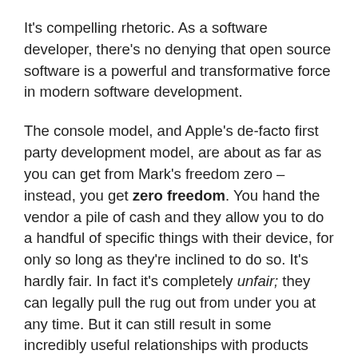It's compelling rhetoric. As a software developer, there's no denying that open source software is a powerful and transformative force in modern software development.
The console model, and Apple's de-facto first party development model, are about as far as you can get from Mark's freedom zero – instead, you get zero freedom. You hand the vendor a pile of cash and they allow you to do a handful of specific things with their device, for only so long as they're inclined to do so. It's hardly fair. In fact it's completely unfair; they can legally pull the rug out from under you at any time. But it can still result in some incredibly useful relationships with products that solve very real problems for the user. As Jaron Lanier notes, the iPhone was not a product of freedom zero: